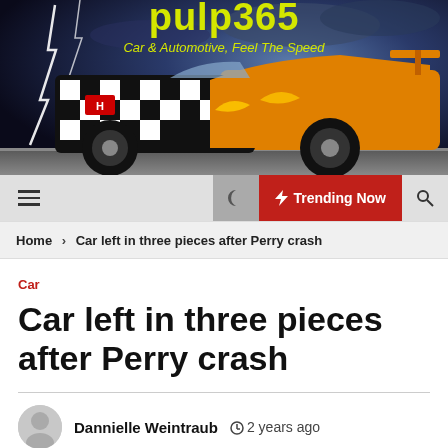pulp365 — Car & Automotive, Feel The Speed
[Figure (illustration): Header banner with racing car (black/white checkered and orange design) against stormy sky with lightning bolts. Site title 'pulp365' in yellow-green and tagline 'Car & Automotive, Feel The Speed' in yellow-green italic.]
≡  🌙  ⚡ Trending Now  🔍
Home > Car left in three pieces after Perry crash
Car
Car left in three pieces after Perry crash
Dannielle Weintraub  🕐 2 years ago